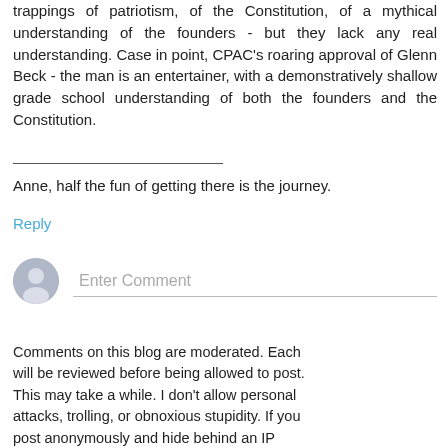trappings of patriotism, of the Constitution, of a mythical understanding of the founders - but they lack any real understanding. Case in point, CPAC's roaring approval of Glenn Beck - the man is an entertainer, with a demonstratively shallow grade school understanding of both the founders and the Constitution.
Anne, half the fun of getting there is the journey.
Reply
[Figure (other): User avatar placeholder circle with silhouette icon and an Enter Comment text input field below it]
Comments on this blog are moderated. Each will be reviewed before being allowed to post. This may take a while. I don't allow personal attacks, trolling, or obnoxious stupidity. If you post anonymously and hide behind an IP blocker, I'm a lot more likely to consider you a troll. Be sure to